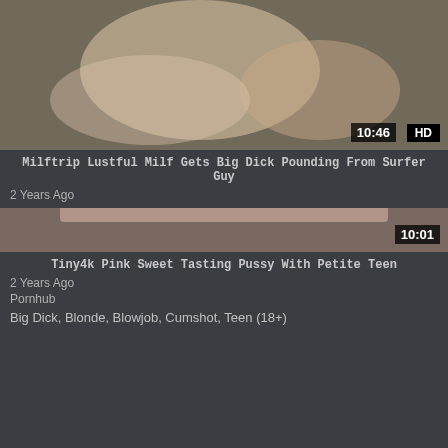[Figure (photo): Video thumbnail showing adult content, with timestamp badge 10:01]
Tiny4k Pink Sweet Tasting Pussy With Petite Teen
2 Years Ago
Pornhub
Big Dick, Blonde, Blowjob, Cumshot, Teen (18+)
[Figure (photo): Video thumbnail showing adult content, with HD badge and timestamp 10:46]
Milftrip Lustful Milf Gets Big Dick Pounding From Surfer Guy
2 Years Ago